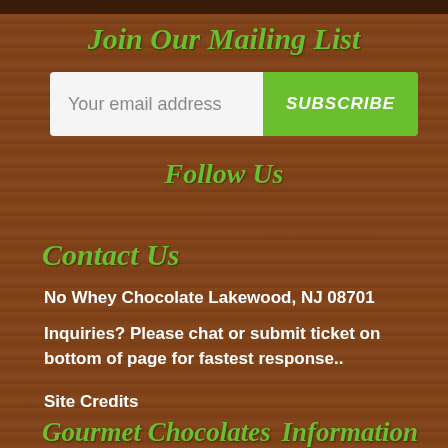Join Our Mailing List
Your email address
SUBSCRIBE
Follow Us
Contact Us
No Whey Chocolate Lakewood, NJ 08701
Inquiries? Please chat or submit ticket on bottom of page for fastest response..
Site Credits
Gourmet Chocolates
Information